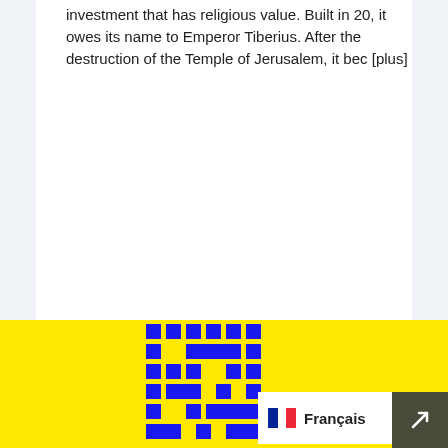investment that has religious value. Built in 20, it owes its name to Emperor Tiberius. After the destruction of the Temple of Jerusalem, it bec [plus]
Continuer La Lecture ›
[Figure (logo): Yellow background section with a blue QR-code-style logo/icon in the center bottom, a French language selector bar (with French flag, 'Français' text and chevron) and a dark olive/grey square with a right-pointing arrow chevron in the bottom-right corner.]